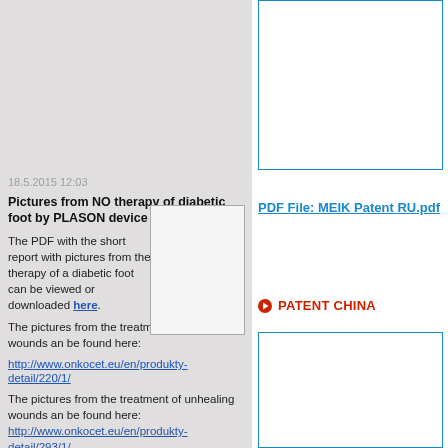18.5.2015 12:03
Pictures from NO therapy of diabetic foot by PLASON device
The PDF with the short report with pictures from the therapy of a diabetic foot can be viewed or downloaded here.
[Figure (photo): Empty image placeholder box for diabetic foot therapy pictures]
The pictures from the treatment of unhealing wounds an be found here:
http://www.onkocet.eu/en/produkty-detail/220/1/
The pictures from the treatment of unhealing wounds an be found here: http://www.onkocet.eu/en/produkty-detail/293/1/
12.5.2011 12:23
[Figure (other): Large bordered content box in right column (top)]
PDF File: MEIK Patent RU.pdf
PATENT CHINA
[Figure (other): Large bordered content box in right column (bottom)]